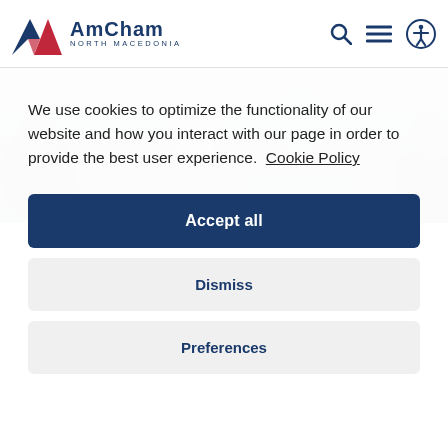AmCham North Macedonia
[Figure (photo): Photo of people in a business meeting, cropped to show faces and upper bodies, grayscale/muted tones]
We use cookies to optimize the functionality of our website and how you interact with our page in order to provide the best user experience.  Cookie Policy
Accept all
Dismiss
Preferences